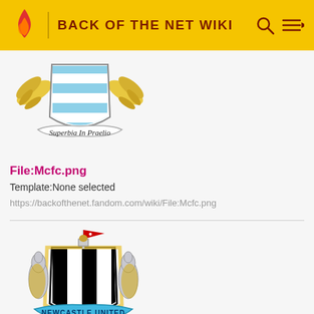BACK OF THE NET WIKI
[Figure (logo): Manchester City FC crest with 'Superbia In Praelio' banner, light blue shield with white diagonal stripes, golden eagle wings]
File:Mcfc.png
Template:None selected
https://backofthenet.fandom.com/wiki/File:Mcfc.png
[Figure (logo): Newcastle United FC badge with two seahorses, black and white striped shield, 'NEWCASTLE UNITED' cyan ribbon banner, rampant seahorse supporters, flag on top]
File:Newcastle-united-badge.jpg